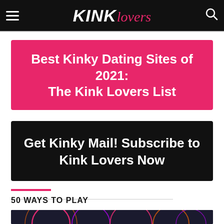KINK Lovers
Best Kinky Dating Sites of 2021: The Kink Lovers List
[Figure (other): Black banner with white bold text reading: Get Kinky Mail! Subscribe to Kink Lovers Now]
50 WAYS TO PLAY
[Figure (other): Dark background image with colorful glowing circular arc designs]